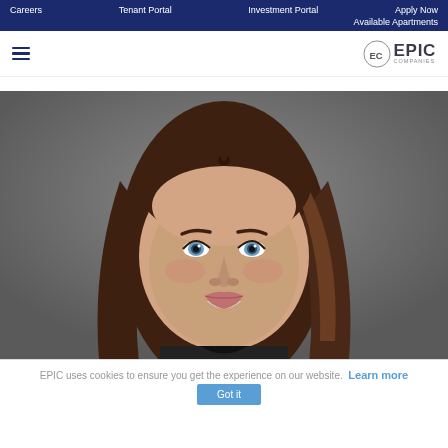Careers | Tenant Portal | Investment Portal | Apply Now | Available Apartments
[Figure (logo): EC EPIC COMPANIES logo with hamburger menu on left]
[Figure (photo): Professional headshot of a young woman with brown hair smiling, against a gray background]
EPIC uses cookies to ensure you get the experience on our website. Learn more | Got it